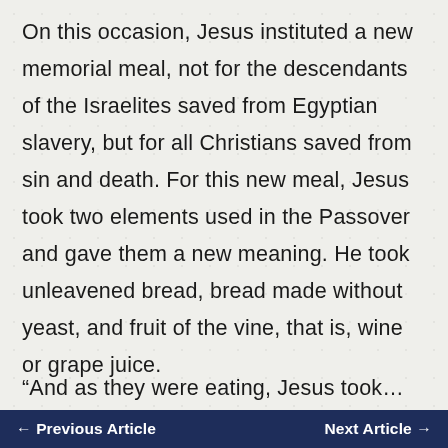On this occasion, Jesus instituted a new memorial meal, not for the descendants of the Israelites saved from Egyptian slavery, but for all Christians saved from sin and death. For this new meal, Jesus took two elements used in the Passover and gave them a new meaning. He took unleavened bread, bread made without yeast, and fruit of the vine, that is, wine or grape juice.
“And as they were eating, Jesus took…
← Previous Article    Next Article →